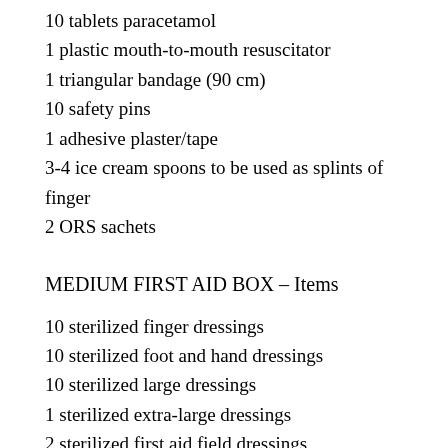10 tablets paracetamol
1 plastic mouth-to-mouth resuscitator
1 triangular bandage (90 cm)
10 safety pins
1 adhesive plaster/tape
3-4 ice cream spoons to be used as splints of finger
2 ORS sachets
MEDIUM FIRST AID BOX – Items
10 sterilized finger dressings
10 sterilized foot and hand dressings
10 sterilized large dressings
1 sterilized extra-large dressings
2 sterilized first aid field dressings
2 sterilized shell dressings